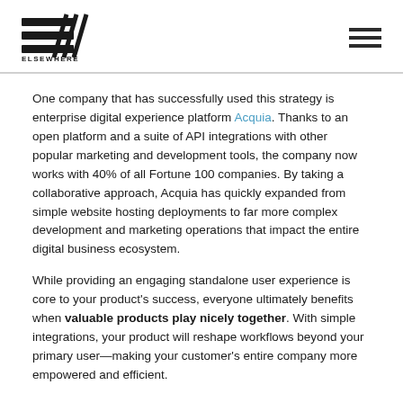ELSEWHERE PARTNERS
One company that has successfully used this strategy is enterprise digital experience platform Acquia. Thanks to an open platform and a suite of API integrations with other popular marketing and development tools, the company now works with 40% of all Fortune 100 companies. By taking a collaborative approach, Acquia has quickly expanded from simple website hosting deployments to far more complex development and marketing operations that impact the entire digital business ecosystem.
While providing an engaging standalone user experience is core to your product's success, everyone ultimately benefits when valuable products play nicely together. With simple integrations, your product will reshape workflows beyond your primary user—making your customer's entire company more empowered and efficient.